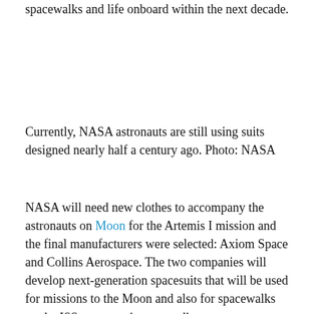spacewalks and life onboard within the next decade.
Currently, NASA astronauts are still using suits designed nearly half a century ago. Photo: NASA
NASA will need new clothes to accompany the astronauts on Moon for the Artemis I mission and the final manufacturers were selected: Axiom Space and Collins Aerospace. The two companies will develop next-generation spacesuits that will be used for missions to the Moon and also for spacewalks on the ISS space station, according to